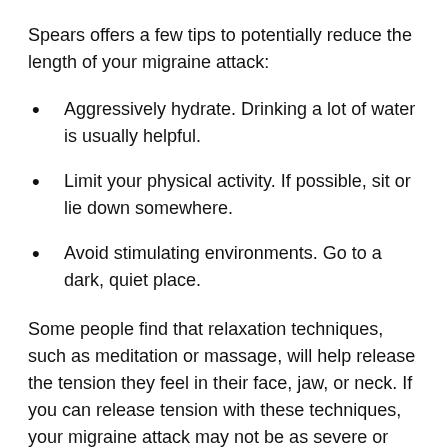Spears offers a few tips to potentially reduce the length of your migraine attack:
Aggressively hydrate. Drinking a lot of water is usually helpful.
Limit your physical activity. If possible, sit or lie down somewhere.
Avoid stimulating environments. Go to a dark, quiet place.
Some people find that relaxation techniques, such as meditation or massage, will help release the tension they feel in their face, jaw, or neck. If you can release tension with these techniques, your migraine attack may not be as severe or last as long. Others find that putting a cold compress on their temples will help relieve their migraine symptoms and keep their migraine from lasting as long. Mauskop says